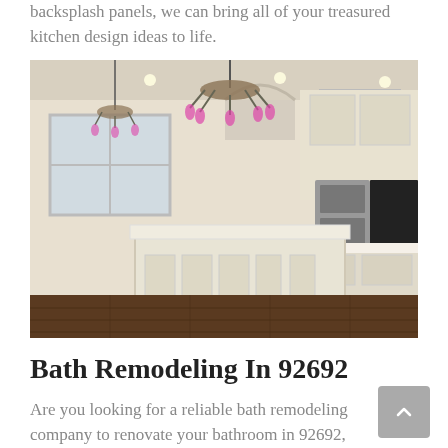backsplash panels, we can bring all of your treasured kitchen design ideas to life.
[Figure (photo): Elegant white kitchen interior with large island featuring cream cabinetry, dark hardwood floors, ornate chandeliers, stainless steel appliances, and arched doorways]
Bath Remodeling In 92692
Are you looking for a reliable bath remodeling company to renovate your bathroom in 92692,